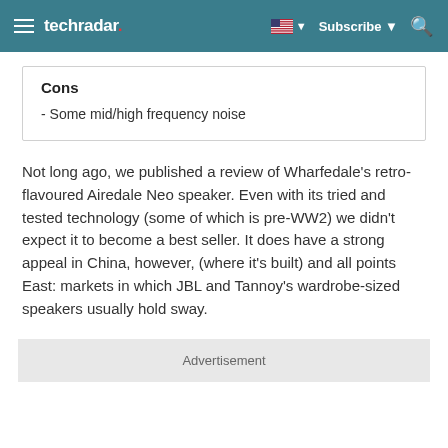techradar
Cons
- Some mid/high frequency noise
Not long ago, we published a review of Wharfedale's retro-flavoured Airedale Neo speaker. Even with its tried and tested technology (some of which is pre-WW2) we didn't expect it to become a best seller. It does have a strong appeal in China, however, (where it's built) and all points East: markets in which JBL and Tannoy's wardrobe-sized speakers usually hold sway.
Advertisement